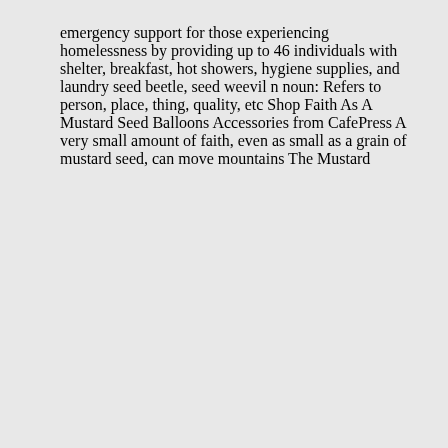emergency support for those experiencing homelessness by providing up to 46 individuals with shelter, breakfast, hot showers, hygiene supplies, and laundry seed beetle, seed weevil n noun: Refers to person, place, thing, quality, etc Shop Faith As A Mustard Seed Balloons Accessories from CafePress A very small amount of faith, even as small as a grain of mustard seed, can move mountains The Mustard